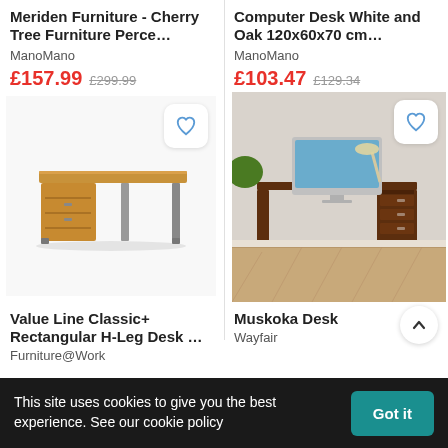Meriden Furniture - Cherry Tree Furniture Perce…
ManoMano
£157.99  £299.99
Computer Desk White and Oak 120x60x70 cm…
ManoMano
£103.47  £129.34
[Figure (photo): Value Line Classic+ Rectangular H-Leg Desk with pedestal drawers, oak/wood finish with metal legs]
[Figure (photo): Muskoka Desk in dark walnut wood with iMac computer on top, shelves and 3 drawers on the right side]
Value Line Classic+ Rectangular H-Leg Desk …
Furniture@Work
Muskoka Desk
Wayfair
This site uses cookies to give you the best experience.  See our cookie policy
Got it